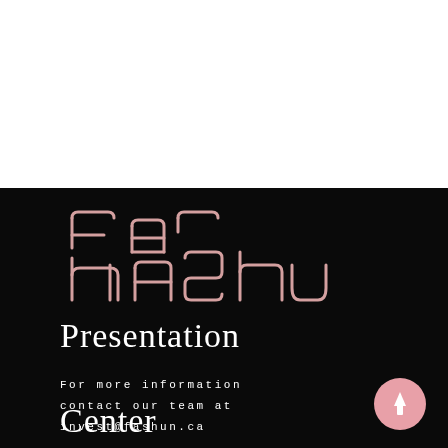[Figure (logo): FaShun logo in pink/rose outline lettering on black background]
Presentation

Center
For more information contact our team at invest@fashun.ca